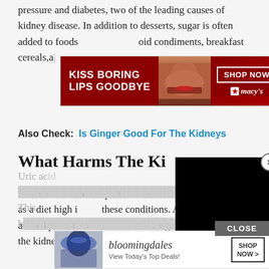pressure and diabetes, two of the leading causes of kidney disease. In addition to desserts, sugar is often added to foods [partially obscured] oid condiments, breakfast cereals,a
[Figure (infographic): Macy's advertisement banner with red background, text 'KISS BORING LIPS GOODBYE', model photo, SHOP NOW button, and Macy's star logo]
Also Check: Is Ginger Good For The Kidneys
What Harms The Ki[dney]
[Figure (screenshot): Black video overlay covering part of the page]
Foods rich in animal protein are [obscured] kidney problems, as a diet high i[n obscured] these conditions. Avoid eating m[ore obscured] animal protein sources. Metabolizing the proteins causes the kidneys to enlarge and adds stress to other organs.
[Figure (infographic): Bloomingdale's advertisement banner with logo, 'View Today's Top Deals!' text, model photo with hat, and SHOP NOW button]
Uric ac[id obscured] body. This h[obscured]us